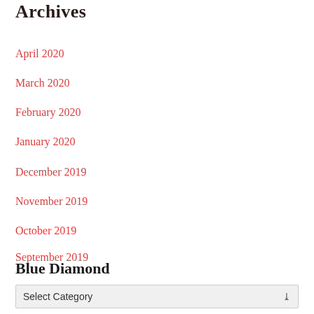Archives
April 2020
March 2020
February 2020
January 2020
December 2019
November 2019
October 2019
September 2019
Blue Diamond
Select Category